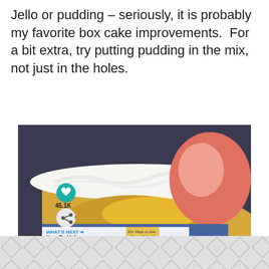Jello or pudding – seriously, it is probably my favorite box cake improvements.  For a bit extra, try putting pudding in the mix, not just in the holes.
[Figure (photo): A close-up photo of a yellow poke cake with thick white whipped cream frosting on top, with a peach visible in the blurred background. In the lower-left corner there is a teal heart icon with '45.1K' below it and a share icon. A 'WHAT'S NEXT' banner shows 'How To Make Box Cake Mi...' with a thumbnail image.]
[Figure (other): A grey decorative diamond/hexagon pattern advertisement banner at the bottom of the page with a small 'W°' logo on the right side.]